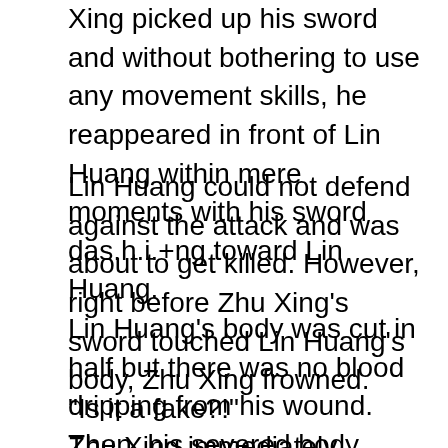Xing picked up his sword and without bothering to use any movement skills, he reappeared in front of Lin Huang within mere moments with his sword das.h.i.+ng toward Lin Huang.
Lin Huang could not defend against the attack and was about to get killed. However, right before Zhu Xing's sword touched Lin Huang's body, Zhu Xing frowned.
Lin Huang's body was cut in half but there was no blood dripping from his wound. Then, his severed body gradually began to fade.
“Is it a fake?!”
Zhu Xing immediately turned back and